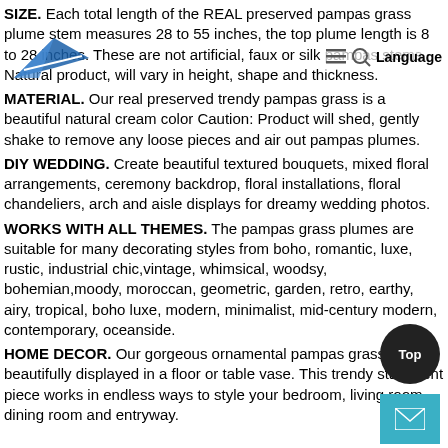SIZE. Each total length of the REAL preserved pampas grass plume stem measures 28 to 55 inches, the top plume length is 8 to 28 inches. These are not artificial, faux or silk pampas stems. Natural product, will vary in height, shape and thickness.
MATERIAL. Our real preserved trendy pampas grass is a beautiful natural cream color Caution: Product will shed, gently shake to remove any loose pieces and air out pampas plumes.
DIY WEDDING. Create beautiful textured bouquets, mixed floral arrangements, ceremony backdrop, floral installations, floral chandeliers, arch and aisle displays for dreamy wedding photos.
WORKS WITH ALL THEMES. The pampas grass plumes are suitable for many decorating styles from boho, romantic, luxe, rustic, industrial chic,vintage, whimsical, woodsy, bohemian,moody, moroccan, geometric, garden, retro, earthy, airy, tropical, boho luxe, modern, minimalist, mid-century modern, contemporary, oceanside.
HOME DECOR. Our gorgeous ornamental pampas grass can be beautifully displayed in a floor or table vase. This trendy statement piece works in endless ways to style your bedroom, living room, dining room and entryway.